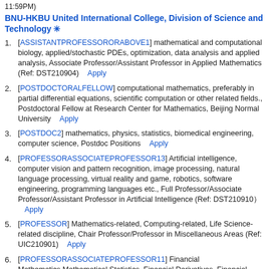11:59PM)
BNU-HKBU United International College, Division of Science and Technology ✳
[ASSISTANTPROFESSORORABOVE1] mathematical and computational biology, applied/stochastic PDEs, optimization, data analysis and applied analysis, Associate Professor/Assistant Professor in Applied Mathematics (Ref: DST210904)   Apply
[POSTDOCTORALFELLOW] computational mathematics, preferably in partial differential equations, scientific computation or other related fields., Postdoctoral Fellow at Research Center for Mathematics, Beijing Normal University   Apply
[POSTDOC2] mathematics, physics, statistics, biomedical engineering, computer science, Postdoc Positions   Apply
[PROFESSORASSOCIATEPROFESSOR13] Artificial intelligence, computer vision and pattern recognition, image processing, natural language processing, virtual reality and game, robotics, software engineering, programming languages etc., Full Professor/Associate Professor/Assistant Professor in Artificial Intelligence (Ref: DST210910）  Apply
[PROFESSOR] Mathematics-related, Computing-related, Life Science-related discipline, Chair Professor/Professor in Miscellaneous Areas (Ref: UIC210901)   Apply
[PROFESSORASSOCIATEPROFESSOR11] Financial Mathematics,Mathematical Statistics, Financial Derivatives, Financial Engineering, Professor/Associate Professor/Assistant Professor in Financial Mathematics (Ref: DST210909)   Apply